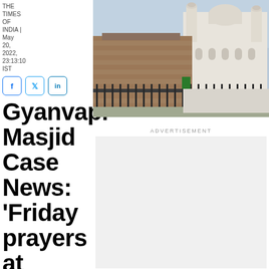THE TIMES OF INDIA | May 20, 2022, 23:13:10 IST
[Figure (photo): Aerial view of Gyanvapi Masjid mosque complex with white domes and minarets, next to older brick structure, surrounded by metal fencing]
ADVERTISEMENT
[Figure (other): Advertisement placeholder block]
Gyanvapi Masjid Case News: 'Friday prayers at Gyanvapi mosque